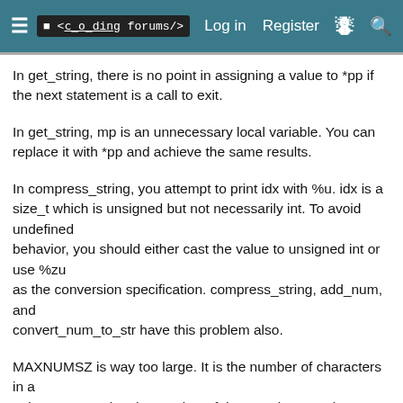≡  <coding forums/>   Log in   Register  ⚡  🔍
In get_string, there is no point in assigning a value to *pp if the next statement is a call to exit.
In get_string, mp is an unnecessary local variable. You can replace it with *pp and achieve the same results.
In compress_string, you attempt to print idx with %u. idx is a size_t which is unsigned but not necessarily int. To avoid undefined
behavior, you should either cast the value to unsigned int or use %zu
as the conversion specification. compress_string, add_num, and
convert_num_to_str have this problem also.
MAXNUMSZ is way too large. It is the number of characters in a
string representing the number of times a character is
repeated. Do